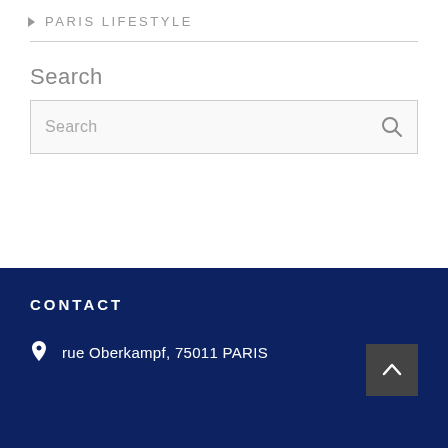PARIS LIFESTYLE
Search
Search
CONTACT
rue Oberkampf, 75011 PARIS